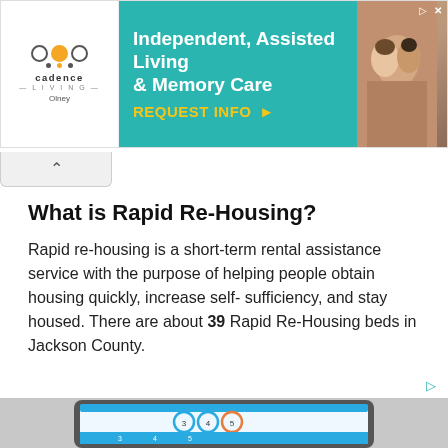[Figure (screenshot): Advertisement banner for Cadence Living Olney: Independent, Assisted Living & Memory Care with REQUEST INFO button and photo of elderly couple]
[Figure (screenshot): Laptop screen mockup showing a housing dashboard with donut charts displaying numbers 3, 4, 5 and navigation icons at bottom]
What is Rapid Re-Housing?
Rapid re-housing is a short-term rental assistance service with the purpose of helping people obtain housing quickly, increase self- sufficiency, and stay housed. There are about 39 Rapid Re-Housing beds in Jackson County.